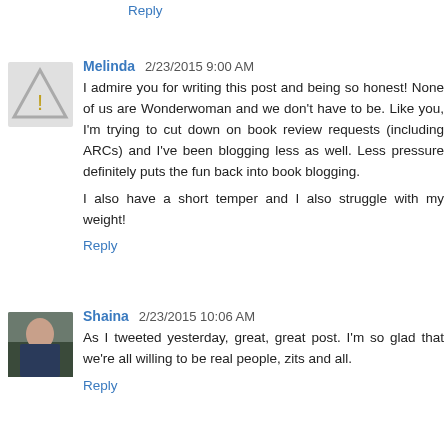Reply
Melinda  2/23/2015 9:00 AM
I admire you for writing this post and being so honest! None of us are Wonderwoman and we don't have to be. Like you, I'm trying to cut down on book review requests (including ARCs) and I've been blogging less as well. Less pressure definitely puts the fun back into book blogging.

I also have a short temper and I also struggle with my weight!
Reply
Shaina  2/23/2015 10:06 AM
As I tweeted yesterday, great, great post. I'm so glad that we're all willing to be real people, zits and all.
Reply